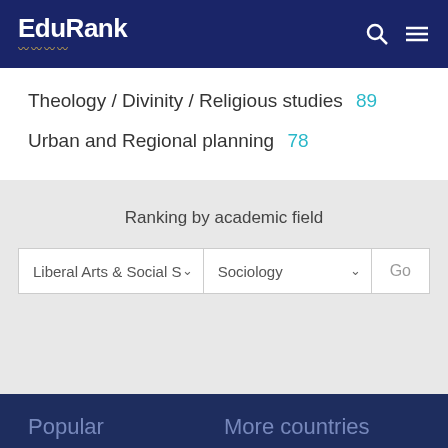EduRank
Theology / Divinity / Religious studies  89
Urban and Regional planning  78
Ranking by academic field
Liberal Arts & Social S  Sociology  Go
Popular  England  More countries  France